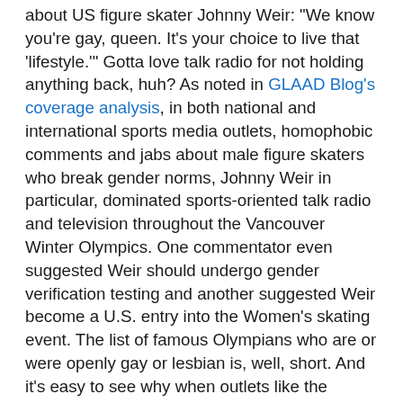about US figure skater Johnny Weir: "We know you're gay, queen. It's your choice to live that 'lifestyle.'" Gotta love talk radio for not holding anything back, huh? As noted in GLAAD Blog's coverage analysis, in both national and international sports media outlets, homophobic comments and jabs about male figure skaters who break gender norms, Johnny Weir in particular, dominated sports-oriented talk radio and television throughout the Vancouver Winter Olympics. One commentator even suggested Weir should undergo gender verification testing and another suggested Weir become a U.S. entry into the Women's skating event. The list of famous Olympians who are or were openly gay or lesbian is, well, short. And it's easy to see why when outlets like the Chicago Tribune post polls asking whether people 'cared' whether Weir was gay or not when he competed during the 2006 Winter Games. The sports commentator's impulse to analysis - even apparently harmless polls like the Chicago Tribune's--is born of a deep and deeply troubling assumption in the minds of sports commentators that "it's a man's world" and that means gay people or those who break gender norms aren't welcome. The Olympics are intended to bring together a global community to celebrate diversity and